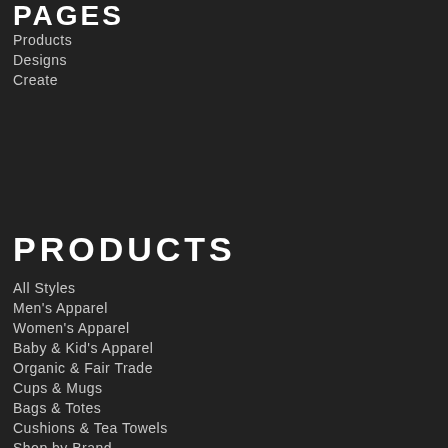PAGES
Products
Designs
Create
PRODUCTS
All Styles
Men's Apparel
Women's Apparel
Baby & Kid's Apparel
Organic & Fair Trade
Cups & Mugs
Bags & Totes
Cushions & Tea Towels
Shop by Brand
More Techni...